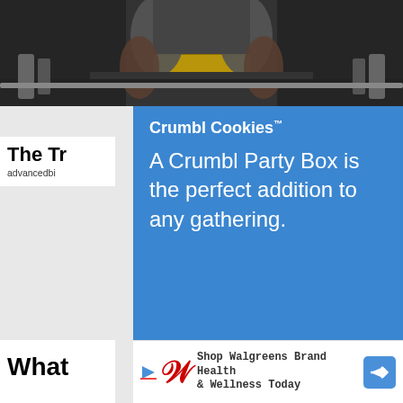[Figure (photo): Top portion of a gym photo showing muscular person with weightlifting belt]
[Figure (advertisement): Crumbl Cookies blue advertisement overlay with text about Party Box]
The Tr
advancedbi
ge 50
[Figure (map): Google Maps showing Potomac Green Community Center area, with route 641 and Ashburn label visible]
Advertisement
[Figure (advertisement): Walgreens ad: Shop Walgreens Brand Health & Wellness Today]
What
Likely
[Figure (logo): The Print circular orange logo]